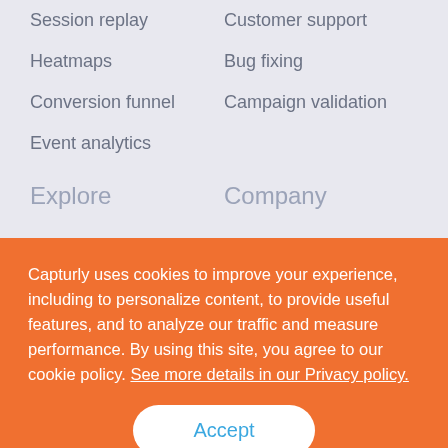Session replay
Customer support
Heatmaps
Bug fixing
Conversion funnel
Campaign validation
Event analytics
Explore
Company
Capturly uses cookies to improve your experience, including to personalize content, to provide useful features, and to analyze our traffic and measure performance. By using this site, you agree to our cookie policy. See more details in our Privacy policy.
Accept